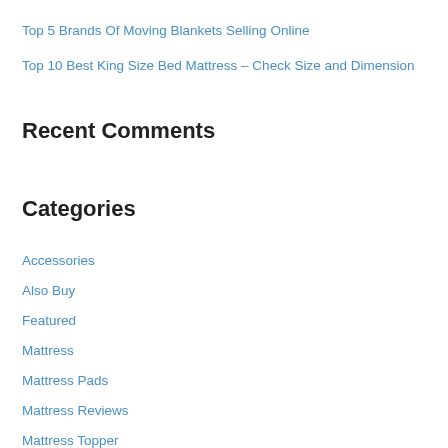Top 5 Brands Of Moving Blankets Selling Online
Top 10 Best King Size Bed Mattress – Check Size and Dimension
Recent Comments
Categories
Accessories
Also Buy
Featured
Mattress
Mattress Pads
Mattress Reviews
Mattress Topper